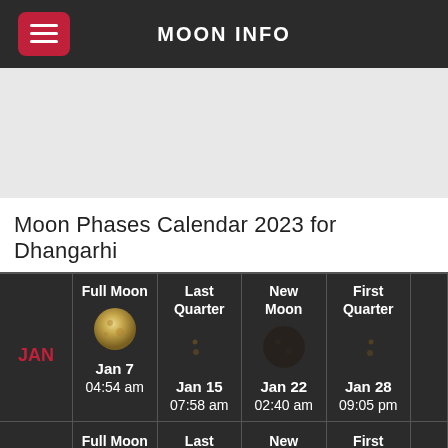MOON INFO
Moon Phases Calendar 2023 for Dhangarhi
|  | Full Moon | Last Quarter | New Moon | First Quarter |  |
| --- | --- | --- | --- | --- | --- |
| JAN | Jan 7
04:54 am | Jan 15
07:58 am | Jan 22
02:40 am | Jan 28
09:05 pm |  |
|  | Full Moon | Last Quarter | New Moon | First Quarter |  |